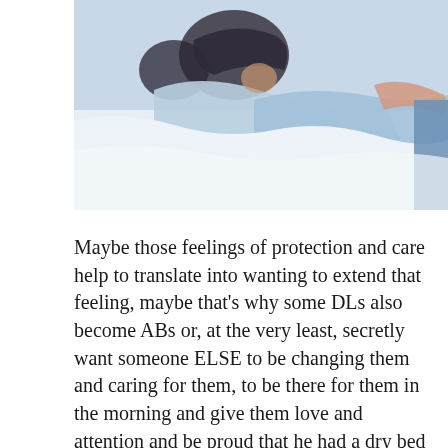[Figure (photo): A painting or artistic photo showing figures with blue and white tones, appearing to depict people in motion or lying down.]
Maybe those feelings of protection and care help to translate into wanting to extend that feeling, maybe that's why some DLs also become ABs or, at the very least, secretly want someone ELSE to be changing them and caring for them, to be there for them in the morning and give them love and attention and be proud that he had a dry bed but a wet night, and happily change him or cuddle him for a bit while he remains in the wet diaper.
By extending the feelings to receiving care and security from a caretaker or daddy can shift from being someone who once had a problem to being someone who has discovered that his problem is an advantage: he can let someone care for them and it's okay and it gives of and...